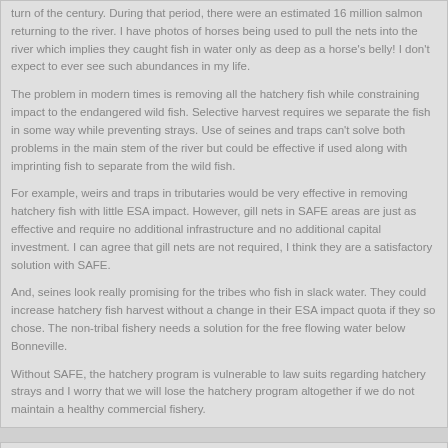turn of the century. During that period, there were an estimated 16 million salmon returning to the river. I have photos of horses being used to pull the nets into the river which implies they caught fish in water only as deep as a horse's belly! I don't expect to ever see such abundances in my life.

The problem in modern times is removing all the hatchery fish while constraining impact to the endangered wild fish. Selective harvest requires we separate the fish in some way while preventing strays. Use of seines and traps can't solve both problems in the main stem of the river but could be effective if used along with imprinting fish to separate from the wild fish.

For example, weirs and traps in tributaries would be very effective in removing hatchery fish with little ESA impact. However, gill nets in SAFE areas are just as effective and require no additional infrastructure and no additional capital investment. I can agree that gill nets are not required, I think they are a satisfactory solution with SAFE.

And, seines look really promising for the tribes who fish in slack water. They could increase hatchery fish harvest without a change in their ESA impact quota if they so chose. The non-tribal fishery needs a solution for the free flowing water below Bonneville.

Without SAFE, the hatchery program is vulnerable to law suits regarding hatchery strays and I worry that we will lose the hatchery program altogether if we do not maintain a healthy commercial fishery.
Peter, Thanks for the comment. This issue is before people who will vote on the merits of the bill but who have very little background in salmon or fishing issues. Blue Oregon is read by thousands of political activists who will have some influence on the outcome of the